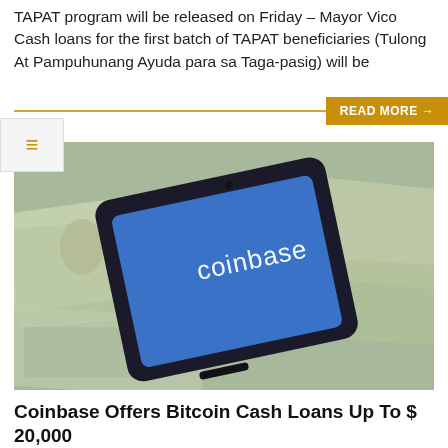TAPAT program will be released on Friday – Mayor Vico Cash loans for the first batch of TAPAT beneficiaries (Tulong At Pampuhunang Ayuda para sa Taga-pasig) will be
[Figure (photo): A smartphone displaying the Coinbase app logo on a blue screen, resting on top of US dollar bills]
Coinbase Offers Bitcoin Cash Loans Up To $ 20,000